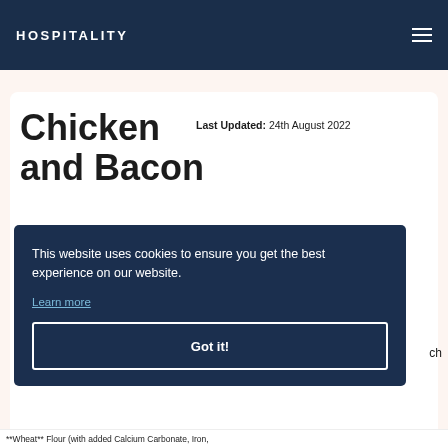HOSPITALITY
Chicken and Bacon
Last Updated: 24th August 2022
This website uses cookies to ensure you get the best experience on our website.
Learn more
Got it!
**Wheat** Flour (with added Calcium Carbonate, Iron,